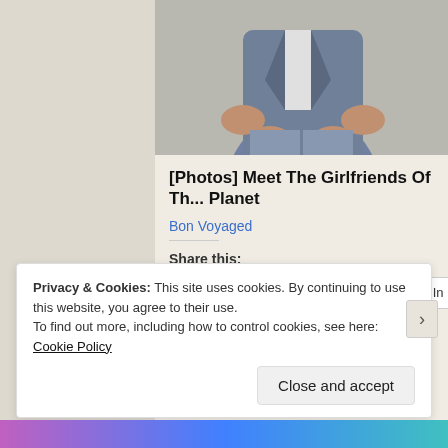[Figure (photo): A person in a suit sitting, photo cropped to show torso and hands, used as article thumbnail image]
[Photos] Meet The Girlfriends Of Th... Planet
Bon Voyaged
Share this:
Twitter  Facebook  LinkedIn
Privacy & Cookies: This site uses cookies. By continuing to use this website, you agree to their use.
To find out more, including how to control cookies, see here: Cookie Policy
Close and accept